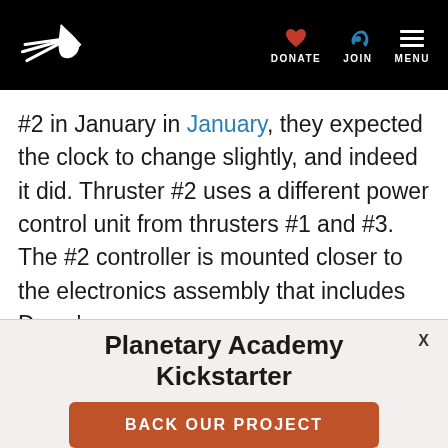Planetary Society website header with logo, DONATE, JOIN, MENU navigation
#2 in January in January, they expected the clock to change slightly, and indeed it did. Thruster #2 uses a different power control unit from thrusters #1 and #3. The #2 controller is mounted closer to the electronics assembly that includes Dawn's
Planetary Academy Kickstarter
BACK OUR PROJECT